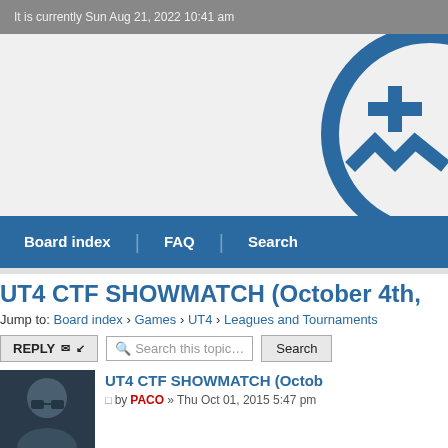It is currently Sun Aug 21, 2022 10:41 am
[Figure (logo): Circular blue logo with plus sign and wave symbol]
Board index   FAQ   Search
UT4 CTF SHOWMATCH (October 4th,
Jump to: Board index › Games › UT4 › Leagues and Tournaments
REPLY  Search this topic...  Search
UT4 CTF SHOWMATCH (Octob
by PACO » Thu Oct 01, 2015 5:47 pm